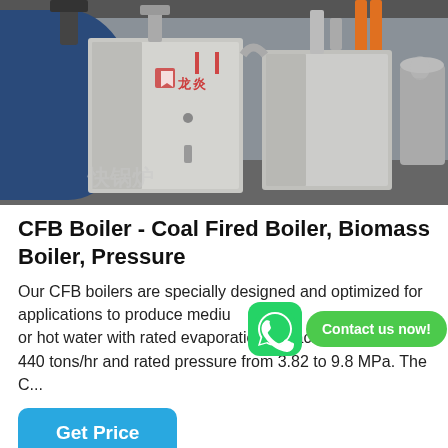[Figure (photo): Industrial boiler room showing large stainless steel CFB boilers with blue cylindrical unit on left, pipes and equipment in background, Chinese watermark text visible]
CFB Boiler - Coal Fired Boiler, Biomass Boiler, Pressure
Our CFB boilers are specially designed and optimized for applications to produce medium hi or hot water with rated evaporation capacity from 35 to 440 tons/hr and rated pressure from 3.82 to 9.8 MPa. The C...